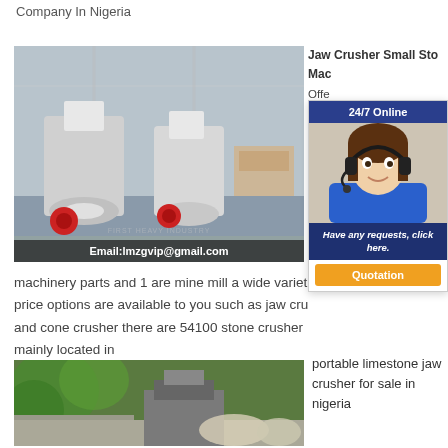Company In Nigeria
[Figure (photo): Industrial jaw crusher machines in a warehouse/factory setting. Email:lmzgvip@gmail.com overlay at bottom.]
Jaw Crusher Small Sto Mac Offe crus abo crus
[Figure (infographic): 24/7 Online chat widget with woman wearing headset, Have any requests, click here. Quotation button.]
machinery parts and 1 are mine mill a wide variet price options are available to you such as jaw cru and cone crusher there are 54100 stone crusher mainly located in
[Figure (photo): Outdoor limestone jaw crusher operation site with stone walls and vegetation.]
portable limestone jaw crusher for sale in nigeria